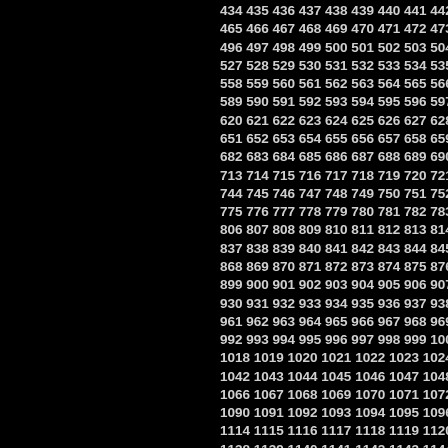Grid of sequential numbers from 434 to approximately 1216, displayed in rows of approximately 10 numbers each, on a black background. The left portion of the page is black with numbers cut off on the left edge, and numbers continue off the right edge.